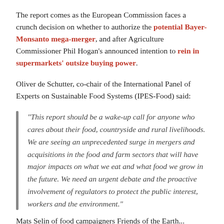The report comes as the European Commission faces a crunch decision on whether to authorize the potential Bayer-Monsanto mega-merger, and after Agriculture Commissioner Phil Hogan's announced intention to rein in supermarkets' outsize buying power.
Oliver de Schutter, co-chair of the International Panel of Experts on Sustainable Food Systems (IPES-Food) said:
“This report should be a wake-up call for anyone who cares about their food, countryside and rural livelihoods. We are seeing an unprecedented surge in mergers and acquisitions in the food and farm sectors that will have major impacts on what we eat and what food we grow in the future. We need an urgent debate and the proactive involvement of regulators to protect the public interest, workers and the environment.”
Mats Selin of food campaigners Friends of the Earth...